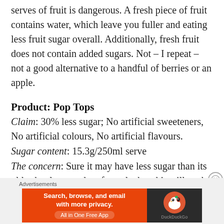serves of fruit is dangerous. A fresh piece of fruit contains water, which leave you fuller and eating less fruit sugar overall. Additionally, fresh fruit does not contain added sugars. Not – I repeat – not a good alternative to a handful of berries or an apple.
Product: Pop Tops
Claim: 30% less sugar; No artificial sweeteners, No artificial colours, No artificial flavours.
Sugar content: 15.3g/250ml serve
The concern: Sure it may have less sugar than its old school sugared up formula, but this still packs an added sugar punch with nearly 4tsp per serve – the maximum of what we want our
Advertisements
[Figure (infographic): DuckDuckGo advertisement banner: orange left panel with text 'Search, browse, and email with more privacy. All in One Free App' and dark right panel with DuckDuckGo duck logo.]